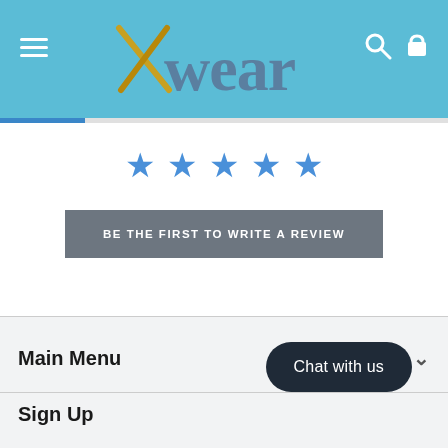[Figure (logo): Xwear logo with gold X and blue-gray 'wear' text on teal/blue header bar, with hamburger menu icon on left and search/cart icons on right]
[Figure (infographic): Five blue star rating icons displayed in a row]
BE THE FIRST TO WRITE A REVIEW
Main Menu
Sign Up
Chat with us